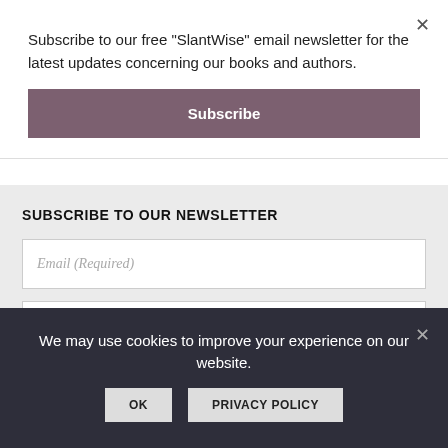Subscribe to our free "SlantWise" email newsletter for the latest updates concerning our books and authors.
Subscribe
SUBSCRIBE TO OUR NEWSLETTER
Email (Required)
First Name
Last Name
We may use cookies to improve your experience on our website.
OK
PRIVACY POLICY